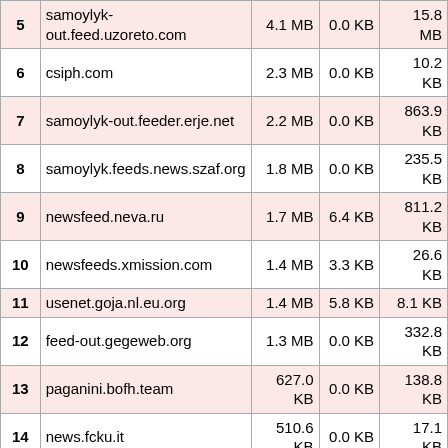| # | Host | Col3 | Col4 | Col5 |
| --- | --- | --- | --- | --- |
| 5 | samoylyk-out.feed.uzoreto.com | 4.1 MB | 0.0 KB | 15.8 MB |
| 6 | csiph.com | 2.3 MB | 0.0 KB | 10.2 KB |
| 7 | samoylyk-out.feeder.erje.net | 2.2 MB | 0.0 KB | 863.9 KB |
| 8 | samoylyk.feeds.news.szaf.org | 1.8 MB | 0.0 KB | 235.5 KB |
| 9 | newsfeed.neva.ru | 1.7 MB | 6.4 KB | 811.2 KB |
| 10 | newsfeeds.xmission.com | 1.4 MB | 3.3 KB | 26.6 KB |
| 11 | usenet.goja.nl.eu.org | 1.4 MB | 5.8 KB | 8.1 KB |
| 12 | feed-out.gegeweb.org | 1.3 MB | 0.0 KB | 332.8 KB |
| 13 | paganini.bofh.team | 627.0 KB | 0.0 KB | 138.8 KB |
| 14 | news.fcku.it | 510.6 KB | 0.0 KB | 17.1 KB |
| 15 | samoylyk-net-out.news.mb-net.net | 421.4 KB | 1.5 KB | 672.4 KB |